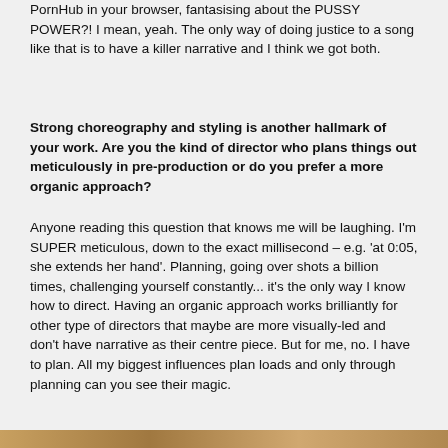PornHub in your browser, fantasising about the PUSSY POWER?! I mean, yeah. The only way of doing justice to a song like that is to have a killer narrative and I think we got both.
Strong choreography and styling is another hallmark of your work. Are you the kind of director who plans things out meticulously in pre-production or do you prefer a more organic approach?
Anyone reading this question that knows me will be laughing. I'm SUPER meticulous, down to the exact millisecond – e.g. 'at 0:05, she extends her hand'. Planning, going over shots a billion times, challenging yourself constantly... it's the only way I know how to direct. Having an organic approach works brilliantly for other type of directors that maybe are more visually-led and don't have narrative as their centre piece. But for me, no. I have to plan. All my biggest influences plan loads and only through planning can you see their magic.
[Figure (photo): A partial image strip visible at the bottom of the page, appearing to show a colorful/warm-toned photo.]